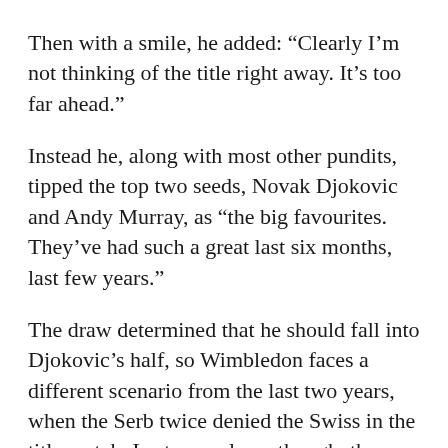Then with a smile, he added: “Clearly I’m not thinking of the title right away. It’s too far ahead.”
Instead he, along with most other pundits, tipped the top two seeds, Novak Djokovic and Andy Murray, as “the big favourites. They’ve had such a great last six months, last few years.”
The draw determined that he should fall into Djokovic’s half, so Wimbledon faces a different scenario from the last two years, when the Serb twice denied the Swiss in the title match. Last year alone, though, they played seven finals against one another, with Federer enjoying more success over the world No1 than anybody else.